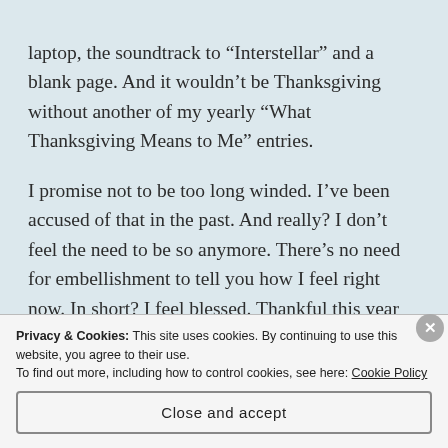laptop, the soundtrack to “Interstellar” and a blank page. And it wouldn’t be Thanksgiving without another of my yearly “What Thanksgiving Means to Me” entries.
I promise not to be too long winded. I’ve been accused of that in the past. And really? I don’t feel the need to be so anymore. There’s no need for embellishment to tell you how I feel right now. In short? I feel blessed. Thankful this year more than I’ve been in years past. It’s not that my life has changed much. It hasn’t. Short of my kids being a year older, my marriage being a year stronger and my new-old career coming up on it’s one year anniversary
Privacy & Cookies: This site uses cookies. By continuing to use this website, you agree to their use.
To find out more, including how to control cookies, see here: Cookie Policy
Close and accept